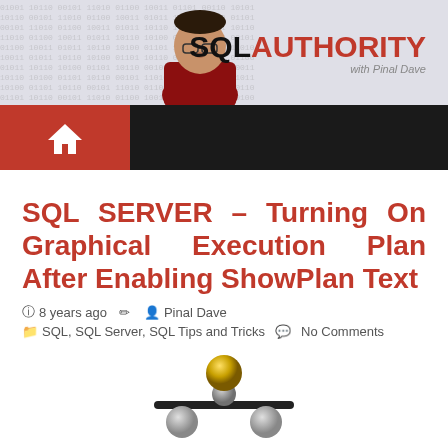[Figure (logo): SQL Authority website banner with a man in red shirt and the SQL AUTHORITY logo with binary/code background]
[Figure (screenshot): Dark navigation bar with red home button showing house icon]
SQL SERVER – Turning On Graphical Execution Plan After Enabling ShowPlan Text
8 years ago   Pinal Dave   SQL, SQL Server, SQL Tips and Tricks   No Comments
[Figure (photo): Balancing spheres - a gold ball balanced on top balanced on a black bar with two silver balls on either side below]